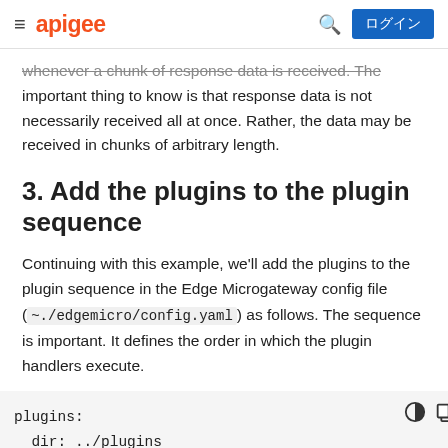apigee | ログイン
whenever a chunk of response data is received. The important thing to know is that response data is not necessarily received all at once. Rather, the data may be received in chunks of arbitrary length.
3. Add the plugins to the plugin sequence
Continuing with this example, we'll add the plugins to the plugin sequence in the Edge Microgateway config file (~./edgemicro/config.yaml) as follows. The sequence is important. It defines the order in which the plugin handlers execute.
plugins:
  dir: ../plugins
  sequence:
    - plugin-1